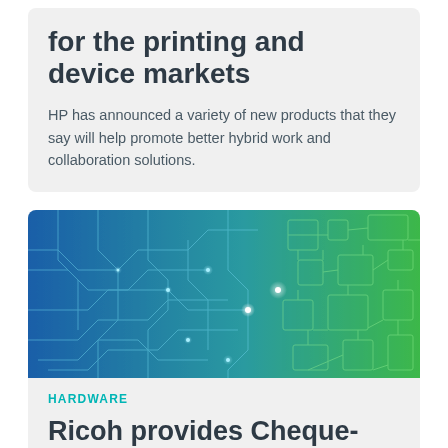for the printing and device markets
HP has announced a variety of new products that they say will help promote better hybrid work and collaboration solutions.
[Figure (illustration): Abstract technology background image with circuit board patterns, blue on the left side transitioning to green on the right side, with glowing connection nodes.]
HARDWARE
Ricoh provides Cheque-Mates with enhanced printing